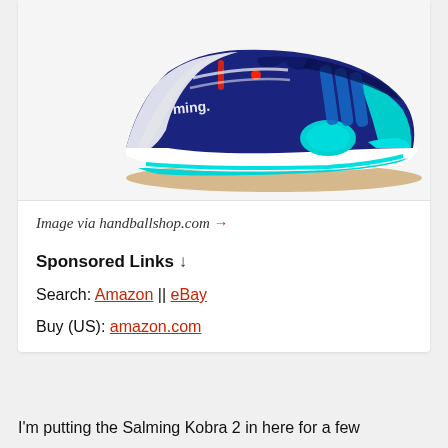[Figure (photo): A Salming handball/indoor court shoe in navy blue, white, and cyan/turquoise colorway, shown from the side on a light gray background. The shoe has the Salming brand name visible on the side.]
Image via handballshop.com →
Sponsored Links ↓
Search: Amazon || eBay
Buy (US): amazon.com
I'm putting the Salming Kobra 2 in here for a few